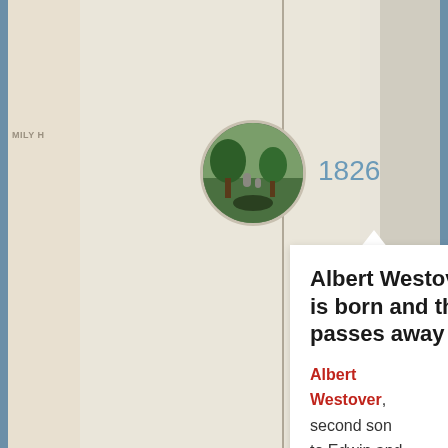[Figure (photo): Circular thumbnail photo of a cemetery/graveyard with green grass and trees]
1826
Albert Westover is born and then passes away
Albert Westover, second son to Edwin and Electa, was born and then passed away